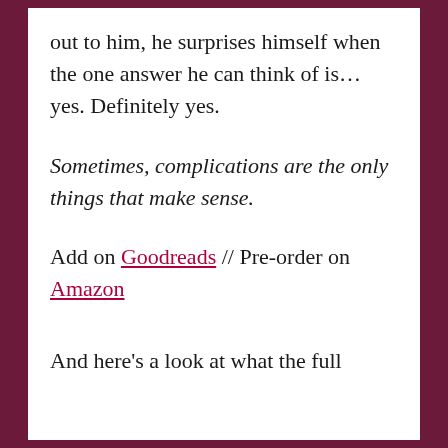out to him, he surprises himself when the one answer he can think of is… yes. Definitely yes.
Sometimes, complications are the only things that make sense.
Add on Goodreads // Pre-order on Amazon
And here's a look at what the full